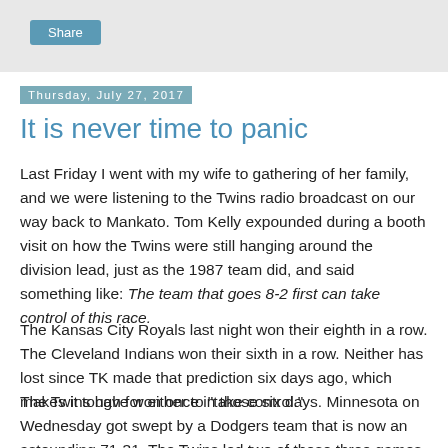Share
Thursday, July 27, 2017
It is never time to panic
Last Friday I went with my wife to gathering of her family, and we were listening to the Twins radio broadcast on our way back to Mankato. Tom Kelly expounded during a booth visit on how the Twins were still hanging around the division lead, just as the 1987 team did, and said something like: The team that goes 8-2 first can take control of this race.
The Kansas City Royals last night won their eighth in a row. The Cleveland Indians won their sixth in a row. Neither has lost since TK made that prediction six days ago, which makes it tough for either to "take control."
The Twins have won once in those six days. Minnesota on Wednesday got swept by a Dodgers team that is now an astounding 71-31. The Twins led two of those three games late, but Taylor Rogers and Brandon Kintzler, their best